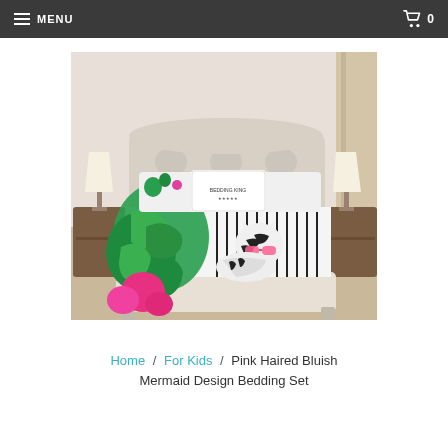MENU  0
[Figure (photo): A bed with a tropical-themed bedding set featuring a cartoon zebra wearing pink sunglasses, tropical green leaves, pink flamingos, and black-and-white stripes on a white comforter, placed in a bedroom with side tables and lamps.]
Home / For Kids / Pink Haired Bluish Mermaid Design Bedding Set